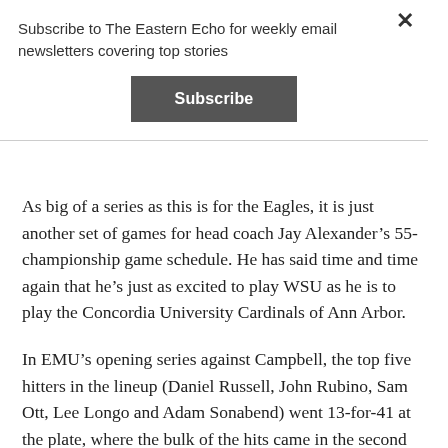Subscribe to The Eastern Echo for weekly email newsletters covering top stories
Subscribe
As big of a series as this is for the Eagles, it is just another set of games for head coach Jay Alexander’s 55-championship game schedule. He has said time and time again that he’s just as excited to play WSU as he is to play the Concordia University Cardinals of Ann Arbor.
In EMU’s opening series against Campbell, the top five hitters in the lineup (Daniel Russell, John Rubino, Sam Ott, Lee Longo and Adam Sonabend) went 13-for-41 at the plate, where the bulk of the hits came in the second game. A .317 average amongst five guys is not a bad deal, but the more you hit the more you score—and you’ve got to score to win.